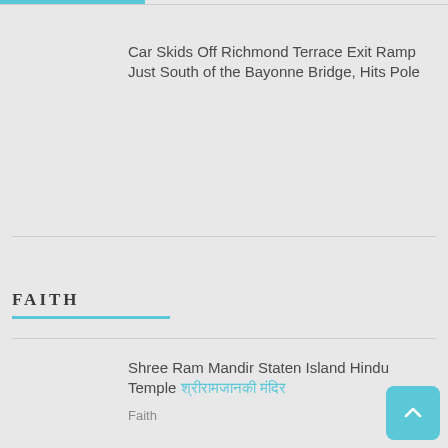Car Skids Off Richmond Terrace Exit Ramp Just South of the Bayonne Bridge, Hits Pole
FAITH
Shree Ram Mandir Staten Island Hindu Temple श्रीरामजानकी मंदिर
Faith
Faith United Methodist Church, Staten Island
Faith